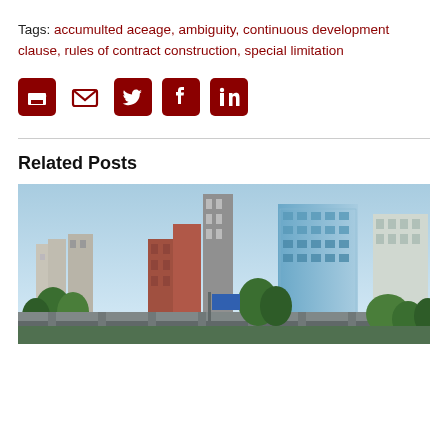Tags: accumulted aceage, ambiguity, continuous development clause, rules of contract construction, special limitation
[Figure (infographic): Social sharing icons: print, email, Twitter, Facebook, LinkedIn — dark red rounded square buttons]
Related Posts
[Figure (photo): City skyline photograph showing tall modern glass office buildings and trees in the foreground against a clear blue sky]